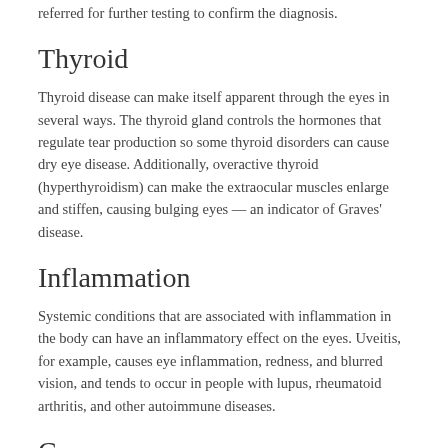referred for further testing to confirm the diagnosis.
Thyroid
Thyroid disease can make itself apparent through the eyes in several ways. The thyroid gland controls the hormones that regulate tear production so some thyroid disorders can cause dry eye disease. Additionally, overactive thyroid (hyperthyroidism) can make the extraocular muscles enlarge and stiffen, causing bulging eyes — an indicator of Graves' disease.
Inflammation
Systemic conditions that are associated with inflammation in the body can have an inflammatory effect on the eyes. Uveitis, for example, causes eye inflammation, redness, and blurred vision, and tends to occur in people with lupus, rheumatoid arthritis, and other autoimmune diseases.
Cancer
Breast cancer, leukemia, and other metastatic cancers are occasionally